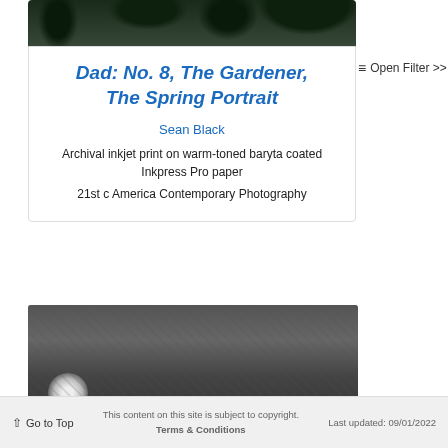[Figure (photo): Dark green foliage photo at top of card]
Dad: No. 8, The Gardener, The Spring Portrait
Sean Black
Archival inkjet print on warm-toned baryta coated Inkpress Pro paper
21st c America Contemporary Photography
≡ Open Filter >>
[Figure (photo): Black and white photograph of a garden pond with lily pads and flowers]
↑ Go to Top   This content on this site is subject to copyright. Terms & Conditions   Last updated: 09/01/2022